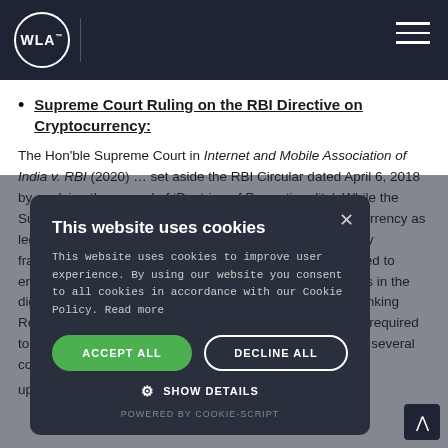WLA (logo) navigation header
Supreme Court Ruling on the RBI Directive on Cryptocurrency:
The Hon'ble Supreme Court in Internet and Mobile Association of India v. RBI (2020) … set aside the RBI Circular dated April 6, 2018 by applying the ground of 'Doctrine of Proportionality'. While the Supreme Court did not recognize …., any form of Cryptocurrency as legal tender, …. We are testing in the waters of a regulatory framework as a precautionary measure, for there is the need to ensure regulation and recognition, at least some of the VCs in the digital payment space. The regulated entities under the Banking Regulation Act, and the policy stand of RBI is relevant and required to be noted here. The Government of India has constituted several committees including high-level committees coming up with several proposals including two draft bills, both of
[Figure (screenshot): Cookie consent modal overlay with title 'This website uses cookies', body text, Accept All and Decline All buttons, Show Details option, and 'Powered by Cookie-Script' footer]